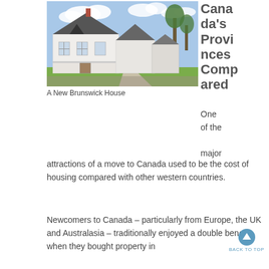[Figure (photo): Photo of a row of white Victorian-style houses along a residential street in New Brunswick, Canada, with trees and a sidewalk visible.]
Canada's Provinces Compared
A New Brunswick House
One of the major attractions of a move to Canada used to be the cost of housing compared with other western countries.
Newcomers to Canada – particularly from Europe, the UK and Australasia – traditionally enjoyed a double benefit when they bought property in